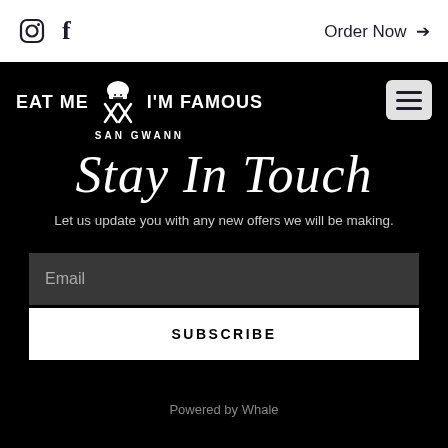Instagram  Facebook  Order Now →
[Figure (logo): Eat Me I'm Famous San Gwann restaurant logo with chef hat and crossed utensils on black background]
Stay In Touch
Let us update you with any new offers we will be making.
Email
SUBSCRIBE
Powered by Whale